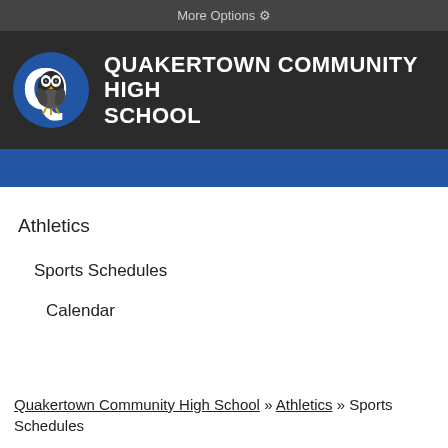More Options ⚙
QUAKERTOWN COMMUNITY HIGH SCHOOL
Athletics
Sports Schedules
Calendar
Quakertown Community High School » Athletics » Sports Schedules